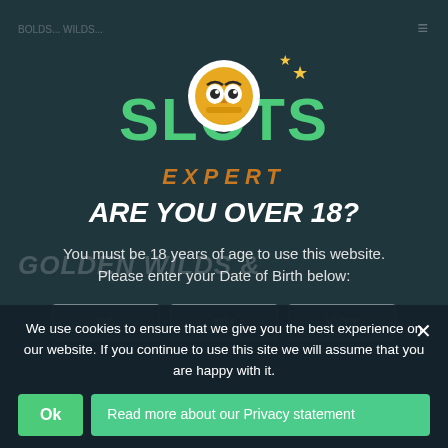[Figure (logo): Slots Expert logo with green SLOTS text, owl mascot in white circle, orange EXPERT text, and yellow stars]
ARE YOU OVER 18?
You must be 18 years of age to use this website. Please enter your Date of Birth below:
DD  MM  YYYY
We use cookies to ensure that we give you the best experience on our website. If you continue to use this site we will assume that you are happy with it.
Ok
Read more about our Privacy statement